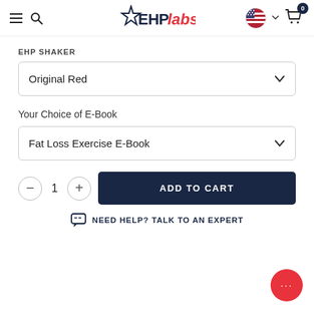EHPLabs navigation header with hamburger menu, search icon, EHPLabs logo, US flag selector, and cart with 0 items
EHP SHAKER
Original Red (dropdown)
Your Choice of E-Book
Fat Loss Exercise E-Book (dropdown)
1 (quantity)
ADD TO CART
NEED HELP? TALK TO AN EXPERT